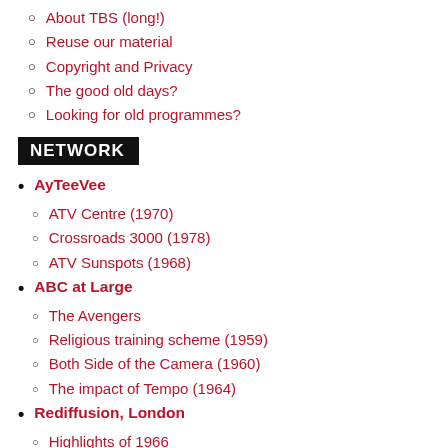About TBS (long!)
Reuse our material
Copyright and Privacy
The good old days?
Looking for old programmes?
NETWORK
AyTeeVee
ATV Centre (1970)
Crossroads 3000 (1978)
ATV Sunspots (1968)
ABC at Large
The Avengers
Religious training scheme (1959)
Both Side of the Camera (1960)
The impact of Tempo (1964)
Rediffusion, London
Highlights of 1966
Highlights of 1967